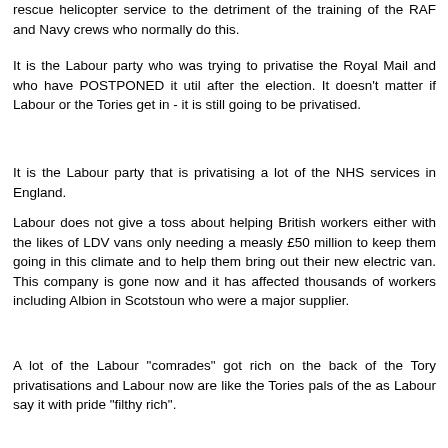rescue helicopter service to the detriment of the training of the RAF and Navy crews who normally do this.
It is the Labour party who was trying to privatise the Royal Mail and who have POSTPONED it util after the election. It doesn't matter if Labour or the Tories get in - it is still going to be privatised.
It is the Labour party that is privatising a lot of the NHS services in England.
Labour does not give a toss about helping British workers either with the likes of LDV vans only needing a measly £50 million to keep them going in this climate and to help them bring out their new electric van. This company is gone now and it has affected thousands of workers including Albion in Scotstoun who were a major supplier.
A lot of the Labour "comrades" got rich on the back of the Tory privatisations and Labour now are like the Tories pals of the as Labour say it with pride "filthy rich".